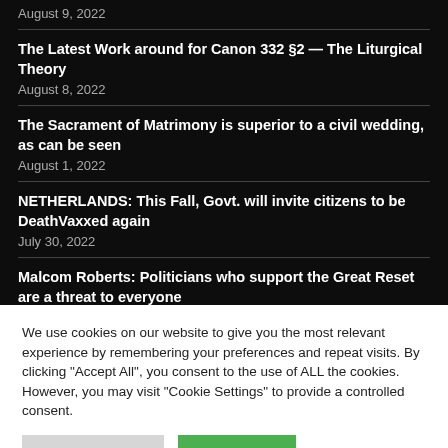August 9, 2022
The Latest Work around for Canon 332 §2 — The Liturgical Theory
August 8, 2022
The Sacrament of Matrimony is superior to a civil wedding, as can be seen
August 1, 2022
NETHERLANDS: This Fall, Govt. will invite citizens to be DeathVaxxed again
July 30, 2022
Malcom Roberts: Politicians who support the Great Reset are a threat to everyone
We use cookies on our website to give you the most relevant experience by remembering your preferences and repeat visits. By clicking "Accept All", you consent to the use of ALL the cookies. However, you may visit "Cookie Settings" to provide a controlled consent.